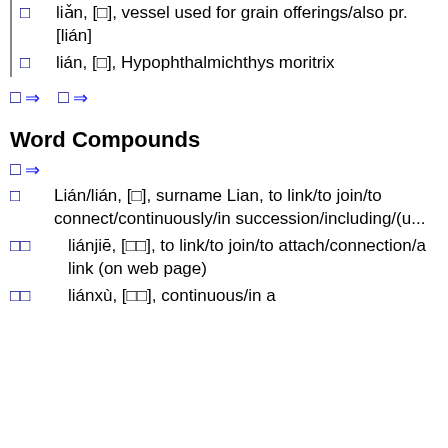□ lǐan, [□], see □□[lián jiā], lián/to thresh (using a flail)
□ liǎn, [□], vessel used for grain offerings/also pr. [lián]
□ lián, [□], Hypophthalmichthys moritrix
□ ⇒   □ ⇒
Word Compounds
□ ⇒
□ Lián/lián, [□], surname Lian, to link/to join/to connect/continuously/in succession/including/(u...
□□ liánjiē, [□□], to link/to join/to attach/connection/a link (on web page)
□□ liánxù, [□□], continuous/in a